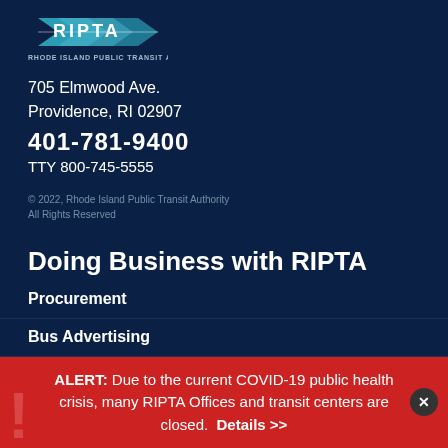[Figure (logo): RIPTA logo — stylized arrow/bus shape in teal/white, with text 'RHODE ISLAND PUBLIC TRANSIT AUTHORITY' below]
705 Elmwood Ave.
Providence, RI 02907
401-781-9400
TTY 800-745-5555
© 2022, Rhode Island Public Transit Authority
All Rights Reserved
Doing Business with RIPTA
Procurement
Bus Advertising
Bus Shelter Advertising
ALERT: Due to the current COVID-19 public health crisis, many RIPTA Offices and transit centers are closed.  Details >>